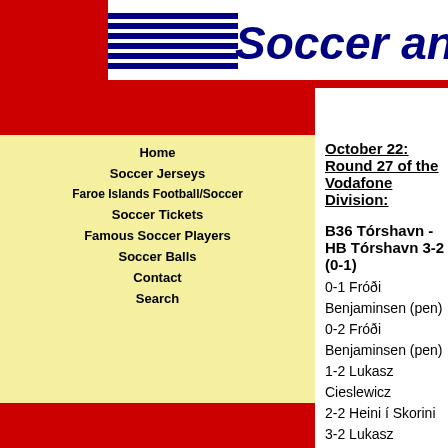Soccer and Equipment
Home
Soccer Jerseys
Faroe Islands Football/Soccer
Soccer Tickets
Famous Soccer Players
Soccer Balls
Contact
Search
October 22: Round 27 of the Vodafone Division:
B36 Tórshavn - HB Tórshavn 3-2 (0-1)
0-1 Fróði Benjaminsen (pen)
0-2 Fróði Benjaminsen (pen)
1-2 Lukasz Cieslewicz
2-2 Heini í Skorini
3-2 Lukasz Cieslewicz
For the most, HB was the better team during the first most finishes, but without really testing Meinhardt Joe needed help from the referee before they got the goa awarded them a very cheap looking penalty which Fr safely.
B36 were close with a Súni Olsen free kick, but Teitur quickly to divert the ball around the post.
Six minutes through the second half HB doubled their penalty from Benjaminsen. This time the referee had